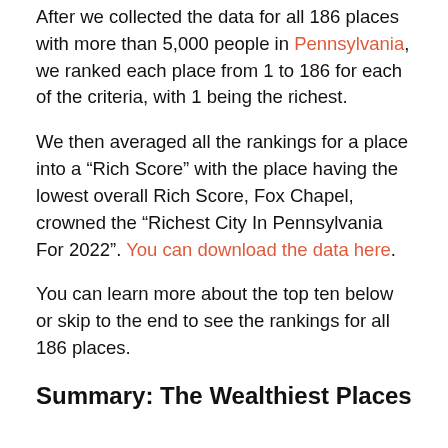After we collected the data for all 186 places with more than 5,000 people in Pennsylvania, we ranked each place from 1 to 186 for each of the criteria, with 1 being the richest.
We then averaged all the rankings for a place into a “Rich Score” with the place having the lowest overall Rich Score, Fox Chapel, crowned the “Richest City In Pennsylvania For 2022”. You can download the data here.
You can learn more about the top ten below or skip to the end to see the rankings for all 186 places.
Summary: The Wealthiest Places